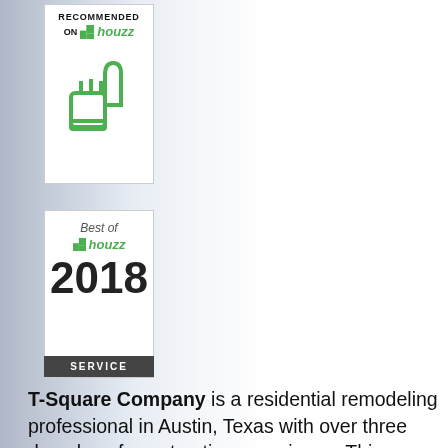[Figure (logo): Houzz 'Recommended on Houzz' badge with thumbs up icon and green Houzz logo]
[Figure (logo): Best of Houzz 2018 Service badge with green Houzz logo]
T-Square Company is a residential remodeling professional in Austin, Texas with over three decades of construction experience. This enables our clients to experience remodels and additions that do not look like "dirt dobber" additions. The finished product must blend into their home's original design, footprint and elevation. We live by this motto. We also specialize in both kitchen remodels and bathroom remodeling in Austin. As a certified CAPS remodeler, we have been trained in accessibility matters and offer design/build Home accessibility solutions. Our Aging in Place designs do not look institutional because they